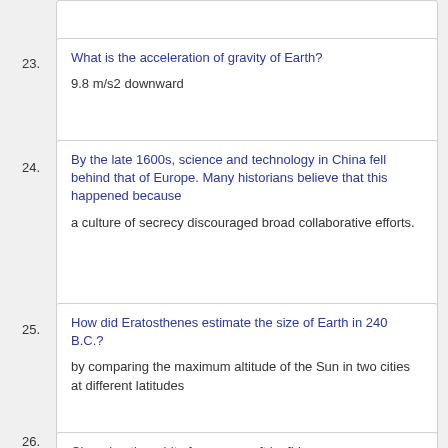23. What is the acceleration of gravity of Earth?
9.8 m/s2 downward
24. By the late 1600s, science and technology in China fell behind that of Europe. Many historians believe that this happened because
a culture of secrecy discouraged broad collaborative efforts.
25. How did Eratosthenes estimate the size of Earth in 240 B.C.?
by comparing the maximum altitude of the Sun in two cities at different latitudes
26. Changing the orbit of a spacecraft by firing